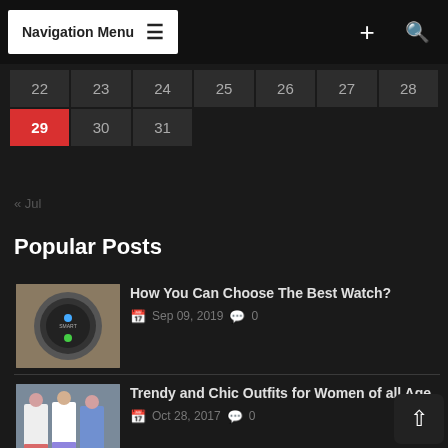Navigation Menu
| 22 | 23 | 24 | 25 | 26 | 27 | 28 |
| 29 | 30 | 31 |  |  |  |  |
«Jul
Popular Posts
[Figure (photo): Smart watch on wooden surface]
How You Can Choose The Best Watch?
Sep 09, 2019  0
[Figure (photo): Group of women in trendy outfits]
Trendy and Chic Outfits for Women of all Age
Oct 28, 2017  0